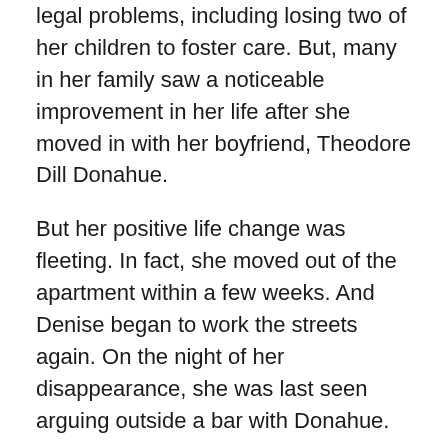legal problems, including losing two of her children to foster care. But, many in her family saw a noticeable improvement in her life after she moved in with her boyfriend, Theodore Dill Donahue.
But her positive life change was fleeting. In fact, she moved out of the apartment within a few weeks. And Denise began to work the streets again. On the night of her disappearance, she was last seen arguing outside a bar with Donahue.
Of course, after she went missing, the boyfriend became a prime suspect. Donahue relied on Denise's checkered past as a way to discredit her and bolster his claim that a “John” must have killed her.
Despite investigators’ gut feelings that he was the killer, the evidence against Donahue was weak, so they were